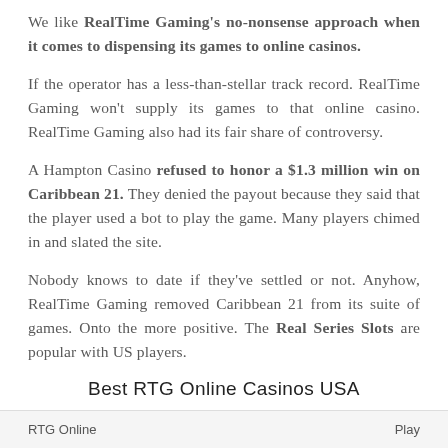We like RealTime Gaming's no-nonsense approach when it comes to dispensing its games to online casinos.
If the operator has a less-than-stellar track record. RealTime Gaming won't supply its games to that online casino. RealTime Gaming also had its fair share of controversy.
A Hampton Casino refused to honor a $1.3 million win on Caribbean 21. They denied the payout because they said that the player used a bot to play the game. Many players chimed in and slated the site.
Nobody knows to date if they've settled or not. Anyhow, RealTime Gaming removed Caribbean 21 from its suite of games. Onto the more positive. The Real Series Slots are popular with US players.
Best RTG Online Casinos USA
| RTG Online | Play |
| --- | --- |